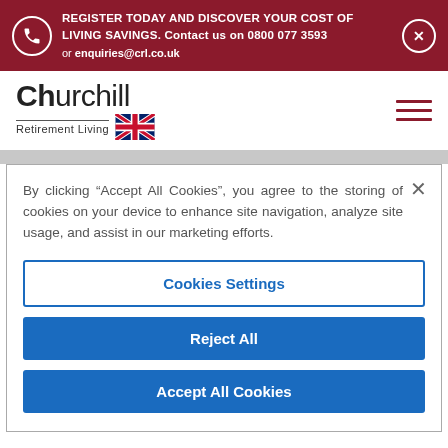REGISTER TODAY AND DISCOVER YOUR COST OF LIVING SAVINGS. Contact us on 0800 077 3593 or enquiries@crl.co.uk
[Figure (logo): Churchill Retirement Living logo with Union Jack flag]
By clicking “Accept All Cookies”, you agree to the storing of cookies on your device to enhance site navigation, analyze site usage, and assist in our marketing efforts.
Cookies Settings
Reject All
Accept All Cookies